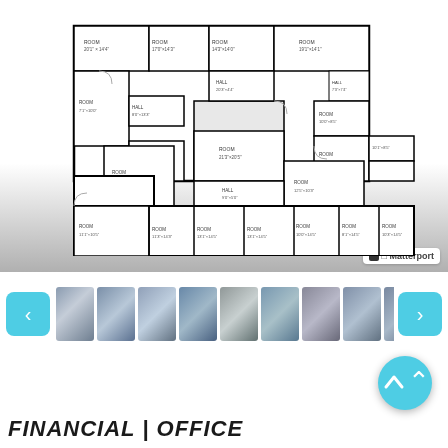[Figure (schematic): Floor plan schematic of a large commercial/office space showing multiple rooms with dimensions labeled. The U-shaped layout includes numerous labeled rooms with measurements. A Matterport branding badge appears in the bottom right corner of the floor plan image.]
[Figure (other): Horizontal thumbnail strip of property photos with left (previous) and right (next) navigation arrows in cyan/teal color]
FINANCIAL | OFFICE